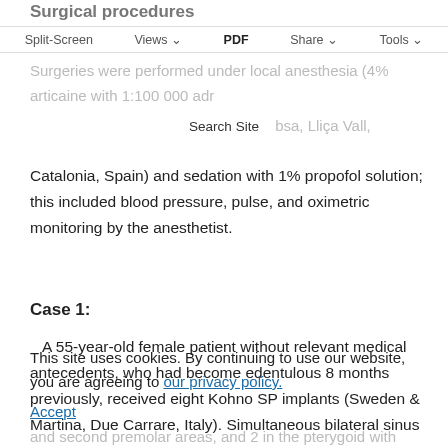Surgical procedures
Surgeries were performed under local anesthesia (4% articaine with 1:100 000 adrenaline; Inibsa, Lliça Vall, Catalonia, Spain) and sedation with 1% propofol solution; this included blood pressure, pulse, and oximetric monitoring by the anesthetist.
Case 1:
A 55-year-old female patient without relevant medical antecedents, who had become edentulous 8 months previously, received eight Kohno SP implants (Sweden & Martina, Due Carrare, Italy). Simultaneous bilateral sinus elevations were performed using tricalcium betaphosphate synthetic particulate bone graft (Keramat, Coruña, Spain). Six implants were inserted in lateral incisor, canine and second premolar areas, and 2 in the pterygoid with
This site uses cookies. By continuing to use our website, you are agreeing to our privacy policy.
Accept